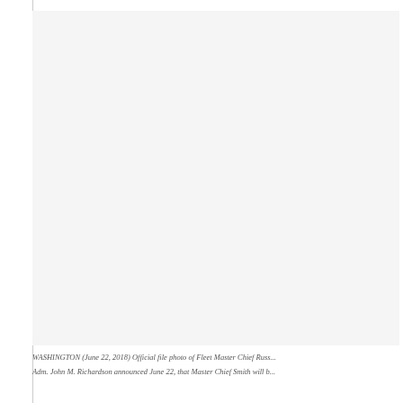[Figure (photo): Official file photo — large blank/white area representing the cropped or unavailable image of Fleet Master Chief Russell Smith]
WASHINGTON (June 22, 2018) Official file photo of Fleet Master Chief Russ... Adm. John M. Richardson announced June 22, that Master Chief Smith will b...